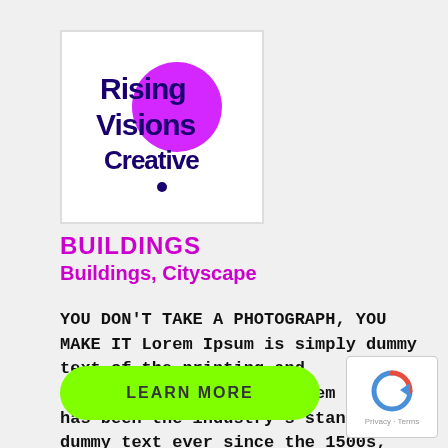[Figure (logo): Rising Visions Creative logo — text in dark purple/blue with a large magenta/purple circle partially overlapping, on white background]
BUILDINGS
Buildings, Cityscape
YOU DON'T TAKE A PHOTOGRAPH, YOU MAKE IT Lorem Ipsum is simply dummy text of the printing and typesetting industry. Lorem Ipsum has been the industry's standard dummy text ever since the 1500s, when an unknown printer took a galley of type and scrambled it to make a type specimen book. It has [...]
LEARN MORE